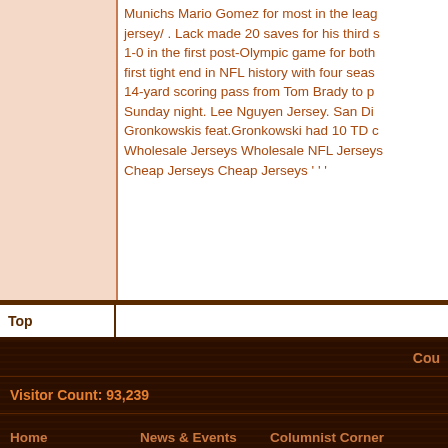Munichs Mario Gomez for most in the league jersey/ . Lack made 20 saves for his third s 1-0 in the first post-Olympic game for both first tight end in NFL history with four seas 14-yard scoring pass from Tom Brady to p Sunday night. Lee Nguyen Jersey. San Di Gronkowskis feat.Gronkowski had 10 TD c Wholesale Jerseys Wholesale NFL Jerseys Cheap Jerseys Cheap Jerseys ' ' '
Top
Cou
Visitor Count: 93,239
Home   News & Events   Columnist Corner
Webboard   Login
copyright footer text